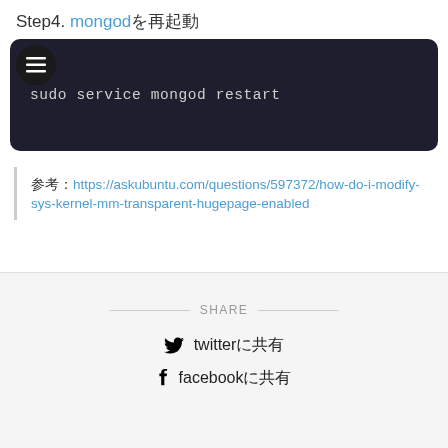Step4. mongodを再起動
sudo service mongod restart
参考：https://askubuntu.com/questions/597372/how-do-i-modify-sys-kernel-mm-transparent-hugepage-enabled
SHARE
twitterに共有
facebookに共有